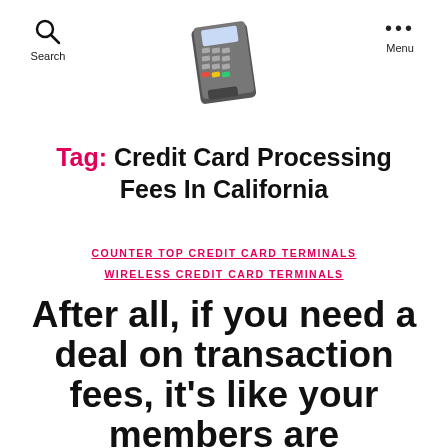Search | [Credit Card Terminal Logo] | Menu
Tag: Credit Card Processing Fees In California
COUNTER TOP CREDIT CARD TERMINALS
WIRELESS CREDIT CARD TERMINALS
After all, if you need a deal on transaction fees, it's like your members are